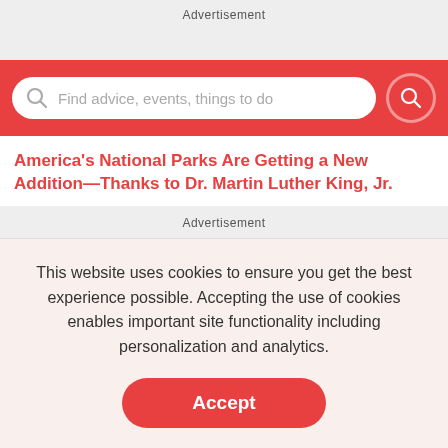Advertisement
[Figure (screenshot): Search bar with placeholder text 'Find advice, events, things to do' on a red background with a search button]
America’s National Parks Are Getting a New Addition—Thanks to Dr. Martin Luther King, Jr.
Advertisement
This website uses cookies to ensure you get the best experience possible. Accepting the use of cookies enables important site functionality including personalization and analytics.
Accept
Decline